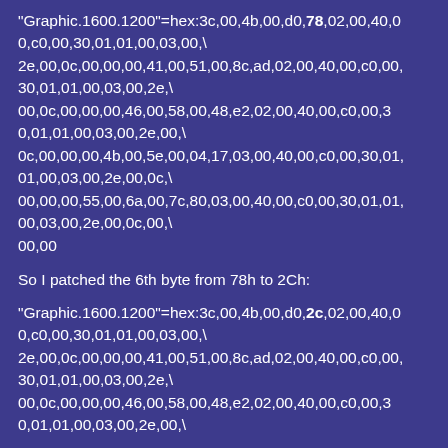"Graphic.1600.1200"=hex:3c,00,4b,00,d0,78,02,00,40,00,c0,00,30,01,01,00,03,00,\
2e,00,0c,00,00,00,41,00,51,00,8c,ad,02,00,40,00,c0,00,30,01,01,00,03,00,2e,\
00,0c,00,00,00,46,00,58,00,48,e2,02,00,40,00,c0,00,30,01,01,00,03,00,2e,00,\
0c,00,00,00,4b,00,5e,00,04,17,03,00,40,00,c0,00,30,01,01,00,03,00,2e,00,0c,\
00,00,00,55,00,6a,00,7c,80,03,00,40,00,c0,00,30,01,01,00,03,00,2e,00,0c,00,\
00,00
So I patched the 6th byte from 78h to 2Ch:
"Graphic.1600.1200"=hex:3c,00,4b,00,d0,2c,02,00,40,00,c0,00,30,01,01,00,03,00,\
2e,00,0c,00,00,00,41,00,51,00,8c,ad,02,00,40,00,c0,00,30,01,01,00,03,00,2e,\
00,0c,00,00,00,46,00,58,00,48,e2,02,00,40,00,c0,00,30,01,01,00,03,00,2e,00,